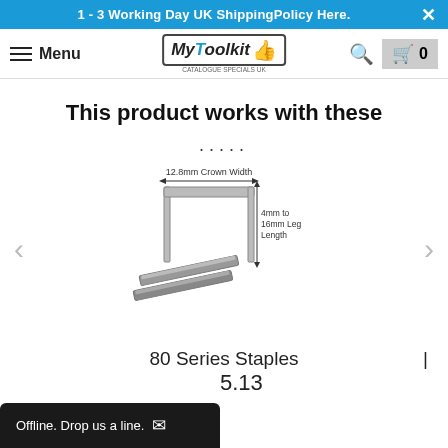1 - 3 Working Day UK ShippingPolicy Here.
Menu | MyToolkit logo | Search | Cart 0
This product works with these
.....
[Figure (illustration): Diagram of a staple showing 12.8mm Crown Width and 4mm to 16mm Leg Length, with two physical staples shown below]
80 Series Staples
5.13
Offline. Drop us a line.